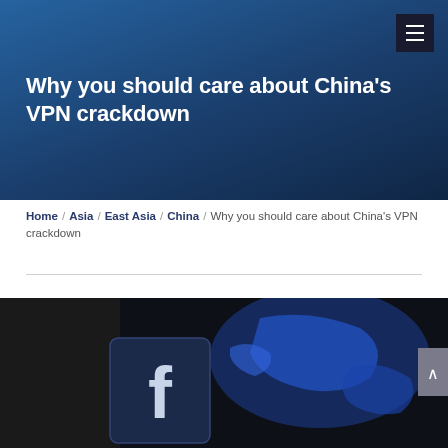Why you should care about China's VPN crackdown
Why you should care about China's VPN crackdown
Home / Asia / East Asia / China / Why you should care about China's VPN crackdown
[Figure (photo): Close-up of a Facebook logo on a dark screen with a blue world map in the background, illustrating China's VPN crackdown and internet censorship theme.]